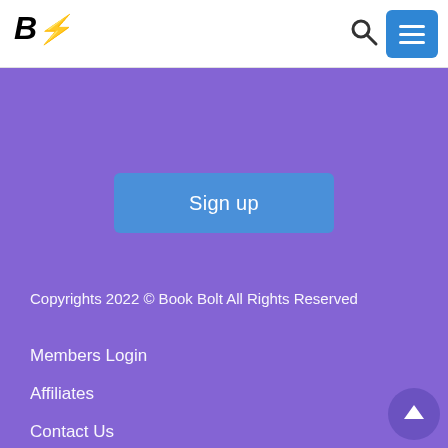[Figure (logo): Book Bolt logo with stylized B and lightning bolt in yellow]
Sign up
Copyrights 2022 © Book Bolt All Rights Reserved
Members Login
Affiliates
Contact Us
Media Contact
Privacy Policy